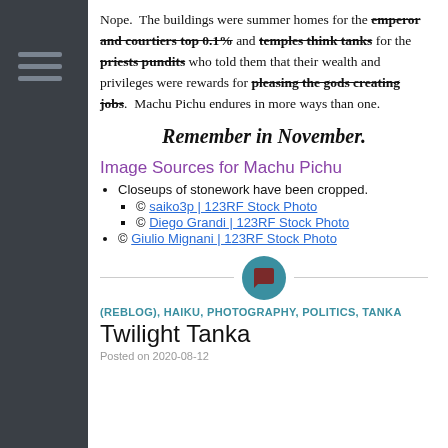Nope.  The buildings were summer homes for the emperor and courtiers top 0.1% and temples think tanks for the priests pundits who told them that their wealth and privileges were rewards for pleasing the gods creating jobs.  Machu Pichu endures in more ways than one.
Remember in November.
Image Sources for Machu Pichu
Closeups of stonework have been cropped.
© saiko3p | 123RF Stock Photo
© Diego Grandi | 123RF Stock Photo
© Giulio Mignani | 123RF Stock Photo
(REBLOG), HAIKU, PHOTOGRAPHY, POLITICS, TANKA
Twilight Tanka
Posted on 2020-08-12